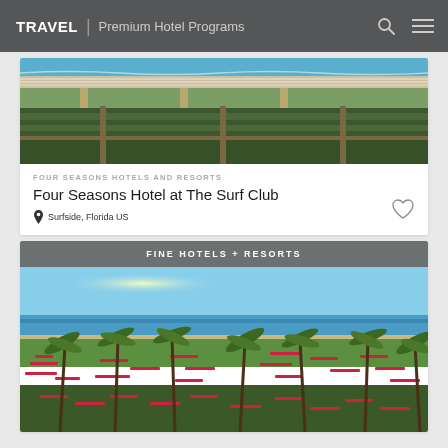TRAVEL | Premium Hotel Programs
[Figure (photo): Aerial view of Four Seasons Hotel at The Surf Club beach property with ocean, sandy beach with lounge chairs in rows, green lawn areas, and palm trees]
FOUR SEASONS HOTELS AND RESORTS
Four Seasons Hotel at The Surf Club
Surfside, Florida US
FINE HOTELS + RESORTS
[Figure (photo): Tropical beachfront resort aerial view with palm trees, bright pink/red umbrellas and beach chairs, green lawn, and ocean in background]